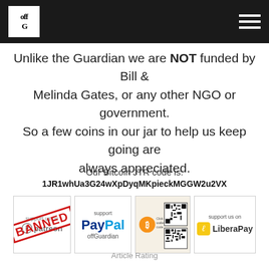offGuardian
Unlike the Guardian we are NOT funded by Bill & Melinda Gates, or any other NGO or government. So a few coins in our jar to help us keep going are always appreciated.
Our Bitcoin JTR code is:
1JR1whUa3G24wXpDyqMKpieckMGGW2u2VX
[Figure (infographic): Four payment method buttons in a row: Patreon (marked BANNED), PayPal offGuardian, Bitcoin QR code, and LiberaPay]
Article Rating
0